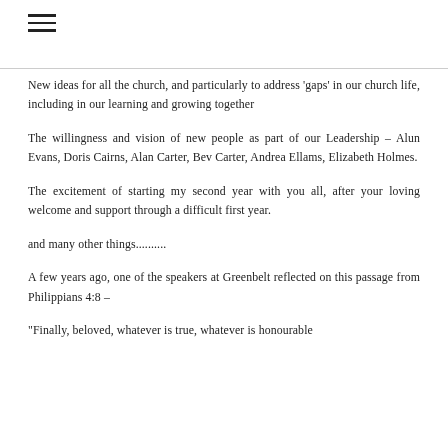≡
New ideas for all the church, and particularly to address 'gaps' in our church life, including in our learning and growing together
The willingness and vision of new people as part of our Leadership – Alun Evans, Doris Cairns, Alan Carter, Bev Carter, Andrea Ellams, Elizabeth Holmes.
The excitement of starting my second year with you all, after your loving welcome and support through a difficult first year.
and many other things..........
A few years ago, one of the speakers at Greenbelt reflected on this passage from Philippians 4:8 –
"Finally, beloved, whatever is true, whatever is honourable